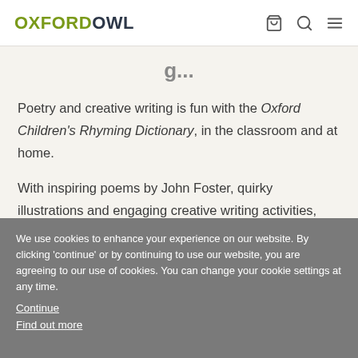OXFORDOWL
Poetry and creative writing is fun with the Oxford Children's Rhyming Dictionary, in the classroom and at home.
With inspiring poems by John Foster, quirky illustrations and engaging creative writing activities, this alphabetical rhyming dictionary gives over 3000 rhyming words to help children to write their own poems, riddles, and nonsense verse.
We use cookies to enhance your experience on our website. By clicking 'continue' or by continuing to use our website, you are agreeing to our use of cookies. You can change your cookie settings at any time.
Continue
Find out more